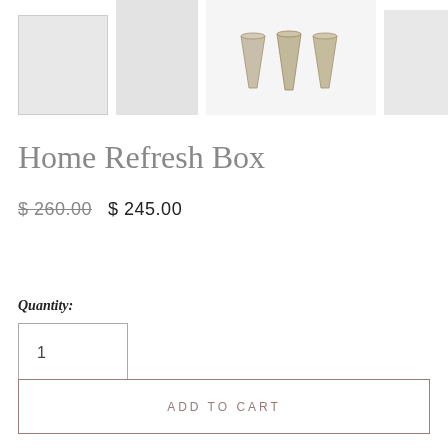[Figure (photo): A row of five product thumbnail images. The first has a light grey background with a thin border. The second is a grey rectangle. The third shows three ceramic/stone cups on a white background. The fourth is a grey rectangle. The fifth is a partial grey rectangle cut off at the right edge.]
Home Refresh Box
$260.00   $ 245.00
Quantity:
1
ADD TO CART